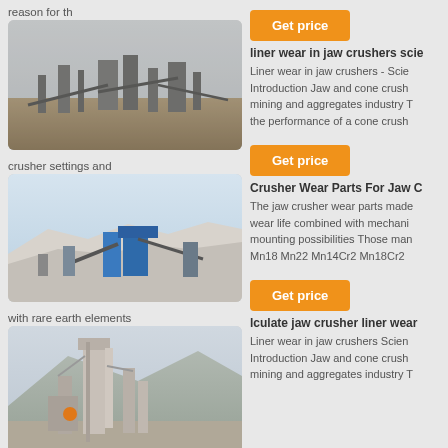reason for th
[Figure (photo): Industrial mining/crushing facility with conveyor belts and equipment against a hazy sky]
crusher settings and
[Figure (photo): Open-pit quarry with blue industrial equipment, conveyor systems and white rocky terrain]
with rare earth elements
[Figure (photo): Industrial plant with tall silos and processing equipment against mountainous background]
Get price
liner wear in jaw crushers scie
Liner wear in jaw crushers - Scie Introduction Jaw and cone crush mining and aggregates industry T the performance of a cone crush
Get price
Crusher Wear Parts For Jaw C
The jaw crusher wear parts made wear life combined with mechani mounting possibilities Those man Mn18 Mn22 Mn14Cr2 Mn18Cr2
Get price
lculate jaw crusher liner wear
Liner wear in jaw crushers Scien Introduction Jaw and cone crush mining and aggregates industry T